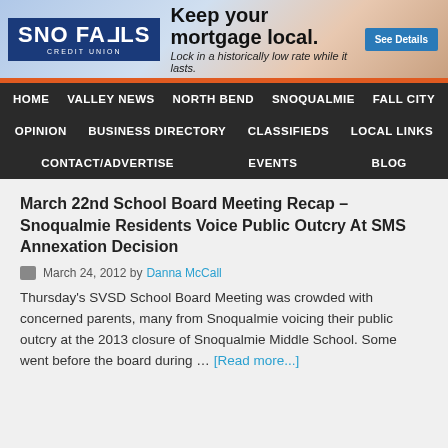[Figure (infographic): Sno Falls Credit Union banner advertisement: 'Keep your mortgage local. Lock in a historically low rate while it lasts.' with See Details button]
HOME  VALLEY NEWS  NORTH BEND  SNOQUALMIE  FALL CITY  OPINION  BUSINESS DIRECTORY  CLASSIFIEDS  LOCAL LINKS  CONTACT/ADVERTISE  EVENTS  BLOG
March 22nd School Board Meeting Recap – Snoqualmie Residents Voice Public Outcry At SMS Annexation Decision
March 24, 2012 by Danna McCall
Thursday's SVSD School Board Meeting was crowded with concerned parents, many from Snoqualmie voicing their public outcry at the 2013 closure of Snoqualmie Middle School. Some went before the board during … [Read more...]